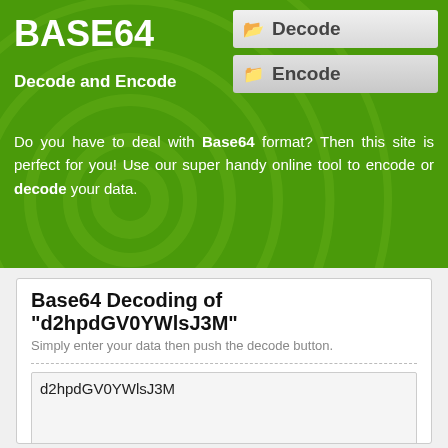BASE64
Decode and Encode
[Figure (screenshot): Decode button - grey gradient button with folder icon]
[Figure (screenshot): Encode button - grey gradient button with folder icon]
Do you have to deal with Base64 format? Then this site is perfect for you! Use our super handy online tool to encode or decode your data.
Base64 Decoding of "d2hpdGV0YWlsJ3M"
Simply enter your data then push the decode button.
d2hpdGV0YWlsJ3M